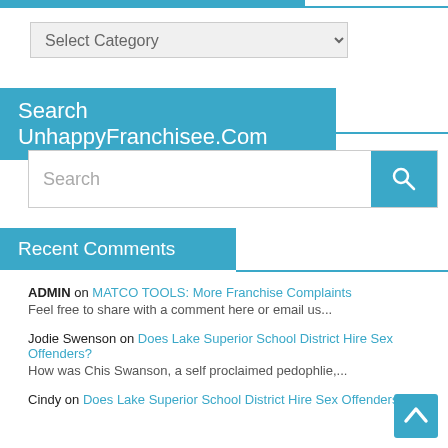[Figure (screenshot): Top navigation bar with blue accent bar at top]
Select Category
Search UnhappyFranchisee.Com
Search
Recent Comments
ADMIN on MATCO TOOLS: More Franchise Complaints
Feel free to share with a comment here or email us...
Jodie Swenson on Does Lake Superior School District Hire Sex Offenders?
How was Chis Swanson, a self proclaimed pedophlie,...
Cindy on Does Lake Superior School District Hire Sex Offenders?